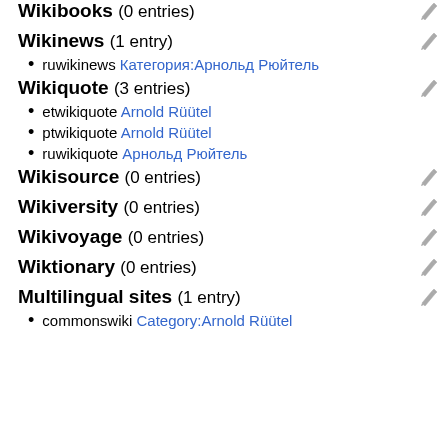Wikibooks (0 entries)
Wikinews (1 entry)
ruwikinews Категория:Арнольд Рюйтель
Wikiquote (3 entries)
etwikiquote Arnold Rüütel
ptwikiquote Arnold Rüütel
ruwikiquote Арнольд Рюйтель
Wikisource (0 entries)
Wikiversity (0 entries)
Wikivoyage (0 entries)
Wiktionary (0 entries)
Multilingual sites (1 entry)
commonswiki Category:Arnold Rüütel